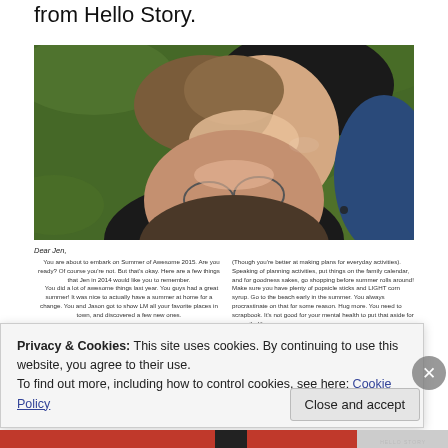from Hello Story.
[Figure (photo): Two people lying on grass, faces close together, smiling and laughing, photographed from above.]
Dear Jen,
  You are about to embark on Summer of Awesome 2015. Are you ready? Of course you're not. But that's okay. Here are a few things that Jen in 2014 would like you to remember.
  You did a lot of awesome things last year. You guys had a great summer! It was nice to actually have a summer at home for a change. You and Jason got to show LM all your favorite places in town, and discovered a few new ones.
(Though you're better at making plans for everyday activities). Speaking of planning activities, put things on the family calendar, and for goodness sakes, go shopping before summer rolls around! Make sure you have plenty of popsicle sticks and LIGHT corn syrup. Go to the beach early in the summer. You always procrastinate on that for some reason. Hug more. You need to scrapbook. It's not good for your mental health to put that aside for a month. It's more
Privacy & Cookies: This site uses cookies. By continuing to use this website, you agree to their use.
To find out more, including how to control cookies, see here: Cookie Policy
Close and accept